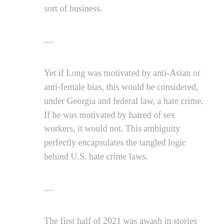sort of business.
....
Yet if Long was motivated by anti-Asian or anti-female bias, this would be considered, under Georgia and federal law, a hate crime. If he was motivated by hatred of sex workers, it would not. This ambiguity perfectly encapsulates the tangled logic behind U.S. hate crime laws.
....
The first half of 2021 was awash in stories about an alleged spike in bias-based actions against Asians in the United